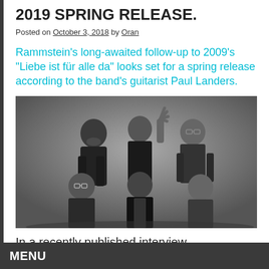2019 SPRING RELEASE.
Posted on October 3, 2018 by Oran
Rammstein's long-awaited follow-up to 2009's "Liebe ist für alle da" looks set for a spring release according to the band's guitarist Paul Landers.
[Figure (photo): Black and white group photo of Rammstein band members, six men dressed in black, three seated in front and three standing behind, against a dark grey background.]
In a recently published interview,
MENU